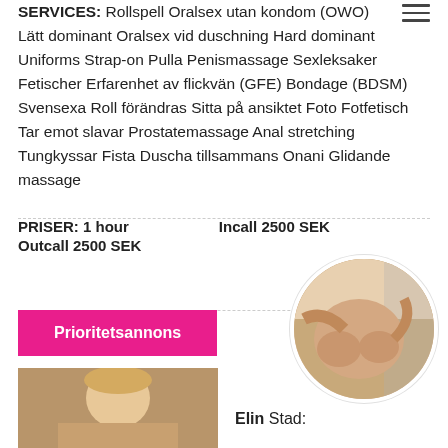SERVICES: Rollspell Oralsex utan kondom (OWO) Lätt dominant Oralsex vid duschning Hard dominant Uniforms Strap-on Pulla Penismassage Sexleksaker Fetischer Erfarenhet av flickvän (GFE) Bondage (BDSM) Svensexa Roll förändras Sitta på ansiktet Foto Fotfetisch Tar emot slavar Prostatemassage Anal stretching Tungkyssar Fista Duscha tillsammans Onani Glidande massage
PRISER: 1 hour  Incall 2500 SEK  Outcall 2500 SEK
Prioritetsannons
[Figure (photo): Circular cropped photo showing a person's torso]
[Figure (photo): Photo of a person (Elin) at the bottom left]
Elin Stad: